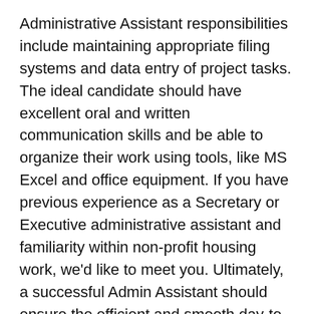Administrative Assistant responsibilities include maintaining appropriate filing systems and data entry of project tasks. The ideal candidate should have excellent oral and written communication skills and be able to organize their work using tools, like MS Excel and office equipment. If you have previous experience as a Secretary or Executive administrative assistant and familiarity within non-profit housing work, we'd like to meet you. Ultimately, a successful Admin Assistant should ensure the efficient and smooth day-to-day operation of PEP.
Demonstrates the following core values: Relentless pursuit of results, respect and humility, personal responsibility, positive outlook, problem solving, communication, organization, and effective internal and external relationships.
Essential Functions (with or without a...